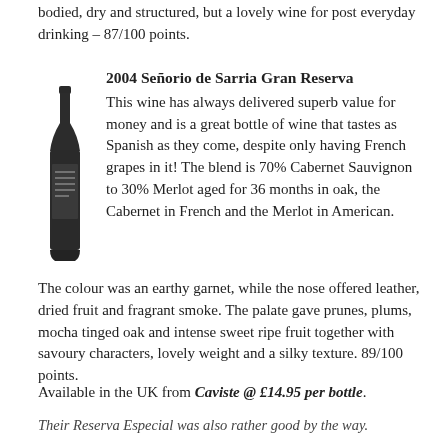bodied, dry and structured, but a lovely wine for post everyday drinking – 87/100 points.
2004 Señorio de Sarria Gran Reserva
[Figure (photo): A dark wine bottle with a label, photographed vertically against a white background.]
This wine has always delivered superb value for money and is a great bottle of wine that tastes as Spanish as they come, despite only having French grapes in it! The blend is 70% Cabernet Sauvignon to 30% Merlot aged for 36 months in oak, the Cabernet in French and the Merlot in American.
The colour was an earthy garnet, while the nose offered leather, dried fruit and fragrant smoke. The palate gave prunes, plums, mocha tinged oak and intense sweet ripe fruit together with savoury characters, lovely weight and a silky texture. 89/100 points.
Available in the UK from Caviste @ £14.95 per bottle.
Their Reserva Especial was also rather good by the way.